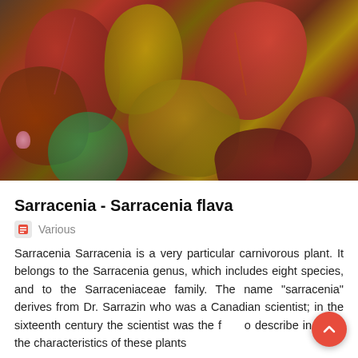[Figure (photo): Close-up photograph of Sarracenia (pitcher plant) foliage with deep red, burgundy, and yellow-green pitcher-shaped leaves with visible veining, densely packed together.]
Sarracenia - Sarracenia flava
Various
Sarracenia Sarracenia is a very particular carnivorous plant. It belongs to the Sarracenia genus, which includes eight species, and to the Sarraceniaceae family. The name "sarracenia" derives from Dr. Sarrazin who was a Canadian scientist; in the sixteenth century the scientist was the first to describe in detail the characteristics of these plants and